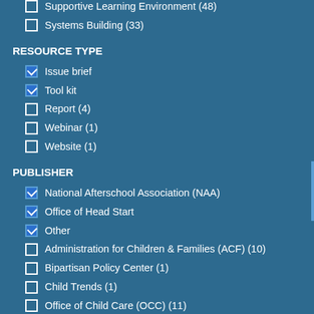Supportive Learning Environment (48)
Systems Building (33)
RESOURCE TYPE
Issue brief [checked]
Tool kit [checked]
Report (4)
Webinar (1)
Website (1)
PUBLISHER
National Afterschool Association (NAA) [checked]
Office of Head Start [checked]
Other [checked]
Administration for Children & Families (ACF) (10)
Bipartisan Policy Center (1)
Child Trends (1)
Office of Child Care (OCC) (11)
Opportunities Exchange (1)